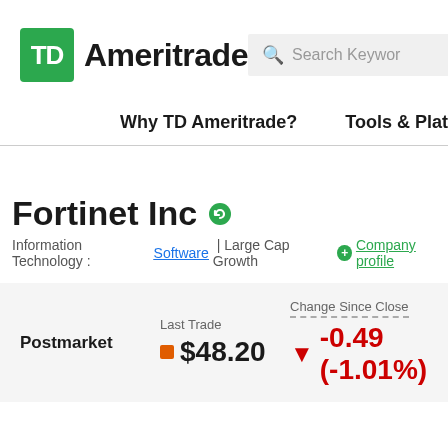[Figure (logo): TD Ameritrade logo with green TD box and bold Ameritrade text]
Search Keyword
Why TD Ameritrade?   Tools & Platforms   Inve
Fortinet Inc
Information Technology : Software | Large Cap Growth   + Company profile
| Postmarket | Last Trade | Change Since Close |
| --- | --- | --- |
|  | $48.20 | -0.49 (-1.01%) |